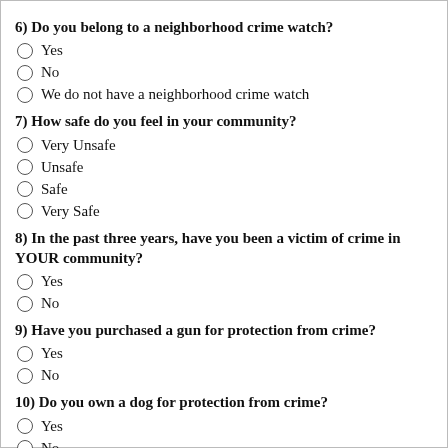6) Do you belong to a neighborhood crime watch?
Yes
No
We do not have a neighborhood crime watch
7) How safe do you feel in your community?
Very Unsafe
Unsafe
Safe
Very Safe
8) In the past three years, have you been a victim of crime in YOUR community?
Yes
No
9) Have you purchased a gun for protection from crime?
Yes
No
10) Do you own a dog for protection from crime?
Yes
No
11) How safe do you feel going out at night in your community?
Very Unsafe
Unsafe